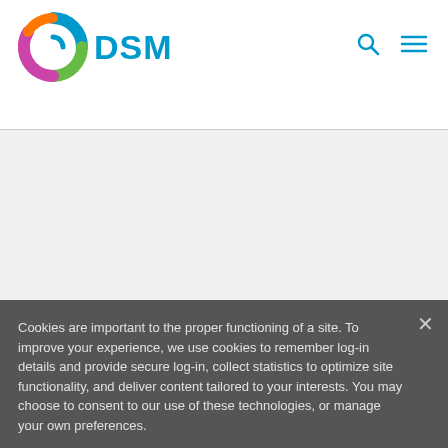[Figure (logo): DSM company logo with colorful spiral icon and blue DSM text]
Cookies are important to the proper functioning of a site. To improve your experience, we use cookies to remember log-in details and provide secure log-in, collect statistics to optimize site functionality, and deliver content tailored to your interests. You may choose to consent to our use of these technologies, or manage your own preferences.
Privacy
ACCEPT ALL
DECLINE ALL
MANAGE SETTINGS
Health & Nutrition    Article    R&D